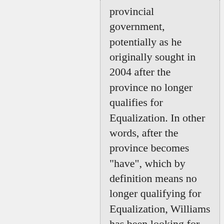provincial government, potentially as he originally sought in 2004 after the province no longer qualifies for Equalization. In other words, after the province becomes "have", which by definition means no longer qualifying for Equalization, Williams has been looking for ways to